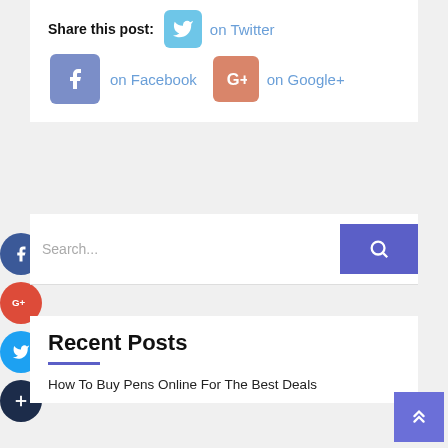Share this post: on Twitter on Facebook on Google+
[Figure (screenshot): Search bar with blue search button]
Recent Posts
How To Buy Pens Online For The Best Deals